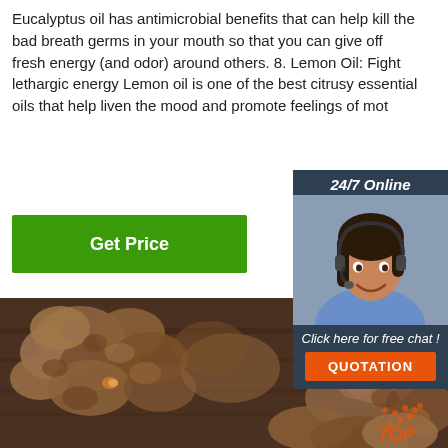Eucalyptus oil has antimicrobial benefits that can help kill the bad breath germs in your mouth so that you can give off fresh energy (and odor) around others. 8. Lemon Oil: Fight lethargic energy Lemon oil is one of the best citrusy essential oils that help liven the mood and promote feelings of mot
[Figure (infographic): Green 'Get Price' button]
[Figure (infographic): 24/7 Online chat widget with agent photo, 'Click here for free chat!' text, and orange QUOTATION button]
[Figure (photo): Photo of dried ginger or similar root/tuber pieces on a wooden board, with additional pieces scattered around and a TOP logo watermark in orange]